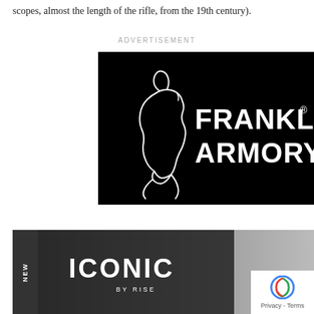scopes, almost the length of the rifle, from the 19th century).
ADVERTISEMENT
[Figure (logo): Franklin Armory logo: black background with white outline silhouette of Benjamin Franklin's profile on the left and white bold text reading FRANKLIN ARMORY with a registered trademark symbol.]
[Figure (logo): ICONIC BY RISE advertisement banner showing firearms accessories with a dark background, NEW label on the left side, ICONIC text in large bold white letters, BY RISE subtitle, and small product images of trigger mechanisms. A Privacy - Terms badge appears in the bottom right corner.]